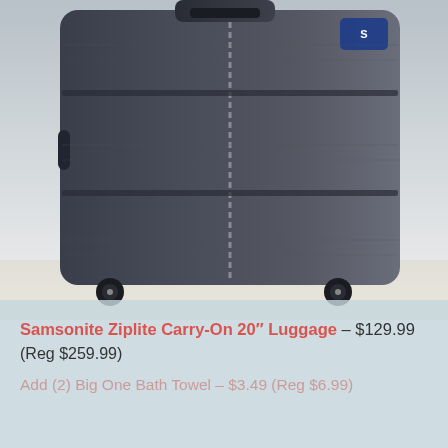[Figure (photo): Samsonite Ziplite Carry-On 20 inch luggage product photo, showing dark colored hard-shell suitcase with spinner wheels on a light background]
Samsonite Ziplite Carry-On 20" Luggage – $129.99 (Reg $259.99)
Add (2) Big One Bath Towel – $3.49 (Reg $6.99)